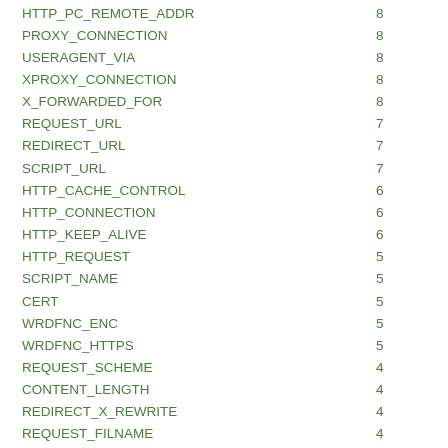| Name | Value |
| --- | --- |
| HTTP_PC_REMOTE_ADDR | 8 |
| PROXY_CONNECTION | 8 |
| USERAGENT_VIA | 8 |
| XPROXY_CONNECTION | 8 |
| X_FORWARDED_FOR | 8 |
| REQUEST_URL | 7 |
| REDIRECT_URL | 7 |
| SCRIPT_URL | 7 |
| HTTP_CACHE_CONTROL | 6 |
| HTTP_CONNECTION | 6 |
| HTTP_KEEP_ALIVE | 6 |
| HTTP_REQUEST | 5 |
| SCRIPT_NAME | 5 |
| CERT | 5 |
| WRDFNC_ENC | 5 |
| WRDFNC_HTTPS | 5 |
| REQUEST_SCHEME | 4 |
| CONTENT_LENGTH | 4 |
| REDIRECT_X_REWRITE | 4 |
| REQUEST_FILNAME | 4 |
| REDIRECT_QUERY_STRING | 3 |
| P_SUFFIX | 3 |
| redirect-carefull | 3 |
| origin_is | 3 |
| usingSSL | 3 |